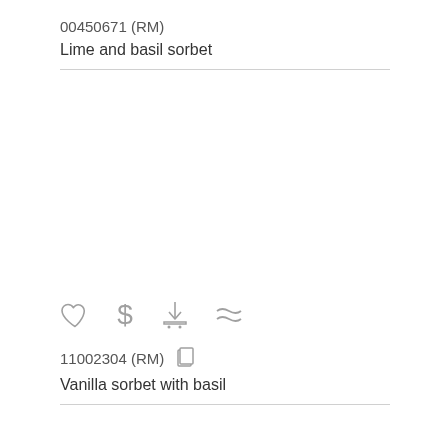00450671 (RM)
Lime and basil sorbet
[Figure (infographic): Row of action icons: heart (favorite), dollar sign (price), download-to-cart, and approximately-equal symbol]
11002304 (RM)
Vanilla sorbet with basil